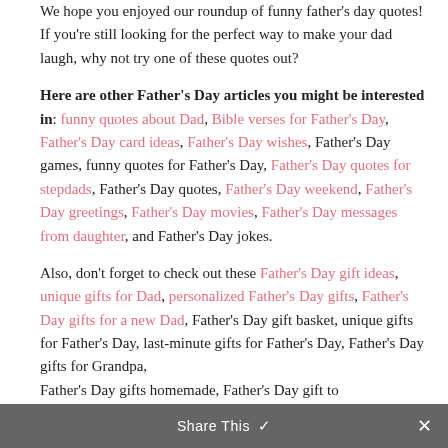We hope you enjoyed our roundup of funny father's day quotes! If you're still looking for the perfect way to make your dad laugh, why not try one of these quotes out?
Here are other Father's Day articles you might be interested in: funny quotes about Dad, Bible verses for Father's Day, Father's Day card ideas, Father's Day wishes, Father's Day games, funny quotes for Father's Day, Father's Day quotes for stepdads, Father's Day quotes, Father's Day weekend, Father's Day greetings, Father's Day movies, Father's Day messages from daughter, and Father's Day jokes.
Also, don't forget to check out these Father's Day gift ideas, unique gifts for Dad, personalized Father's Day gifts, Father's Day gifts for a new Dad, Father's Day gift basket, unique gifts for Father's Day, last-minute gifts for Father's Day, Father's Day gifts for Grandpa, Father's Day gifts homemade, Father's Day gift to
Share This ✓  ✕